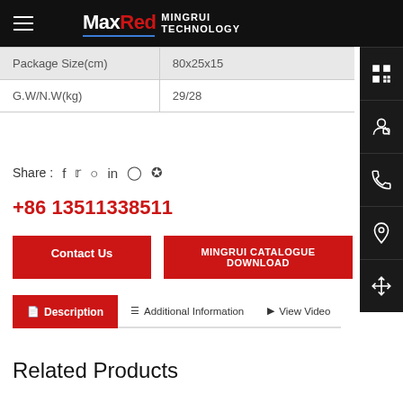MaxRed MINGRUI TECHNOLOGY
| Package Size(cm) | 80x25x15 |
| G.W/N.W(kg) | 29/28 |
Share : f  tw  whatsapp  in  reddit  pinterest
+86 13511338511
Contact Us
MINGRUI CATALOGUE DOWNLOAD
Description  Additional Information  View Video
Related Products